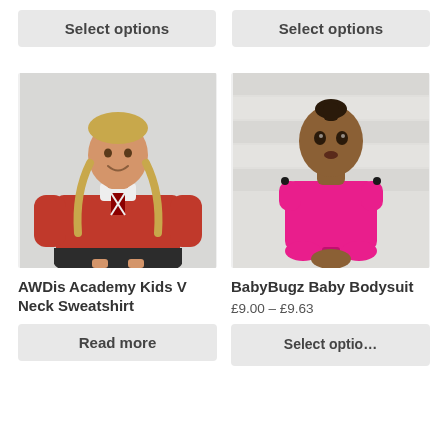Select options
Select options
[Figure (photo): Girl wearing red AWDis Academy V Neck Sweatshirt with black skirt, pigtail braids, smiling]
[Figure (photo): Baby wearing pink BabyBugz Baby Bodysuit, standing, looking at camera, on white background]
AWDis Academy Kids V Neck Sweatshirt
BabyBugz Baby Bodysuit
£9.00 – £9.63
Read more
Select options